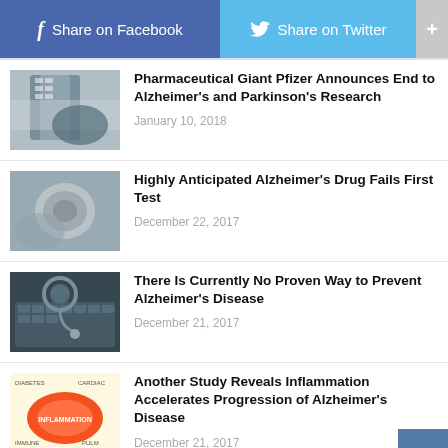[Figure (screenshot): Social sharing bar with Facebook (blue), Twitter (light blue), and plus (+) buttons]
[Figure (photo): Thumbnail photo of a building exterior, likely pharmaceutical company]
Pharmaceutical Giant Pfizer Announces End to Alzheimer's and Parkinson's Research
January 10, 2018
[Figure (photo): Thumbnail photo of pills on a reflective surface]
Highly Anticipated Alzheimer's Drug Fails First Test
December 22, 2017
[Figure (photo): Thumbnail photo of a stethoscope on a laptop keyboard]
There Is Currently No Proven Way to Prevent Alzheimer's Disease
December 21, 2017
[Figure (photo): Thumbnail infographic showing inflammation oval surrounded by health terms like diabetes, cardiac, immune, pulm]
Another Study Reveals Inflammation Accelerates Progression of Alzheimer's Disease
December 21, 2017
[Figure (photo): Thumbnail illustration of neuron network in yellow/gold tones]
Protecting Neurons Could Prevent Depression and Cognitive Deterioration Caused by